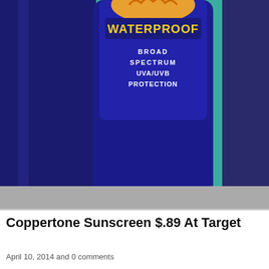[Figure (photo): Photo of a Coppertone sunscreen bottle with WATERPROOF label visible, showing BROAD SPECTRUM UVA/UVB PROTECTION text on a blue bottle against a teal/green background. The lower portion of the image fades to a gray placeholder area.]
Coppertone Sunscreen $.89 At Target
April 10, 2014 and 0 comments